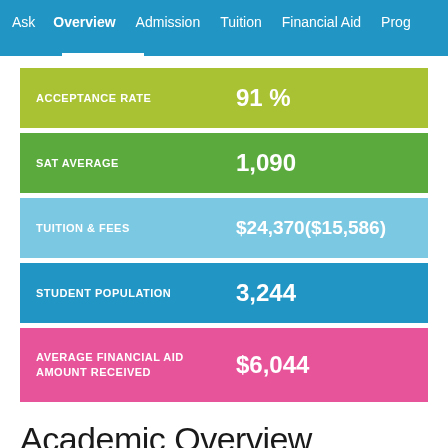Ask  Overview  Admission  Tuition  Financial Aid  Prog
| Metric | Value |
| --- | --- |
| ACCEPTANCE RATE | 91 % |
| SAT AVERAGE | 1,090 |
| TUITION & FEES | $24,370($15,586) |
| STUDENT POPULATION | 3,244 |
| AVERAGE FINANCIAL AID AMOUNT RECEIVED | $6,044 |
Academic Overview